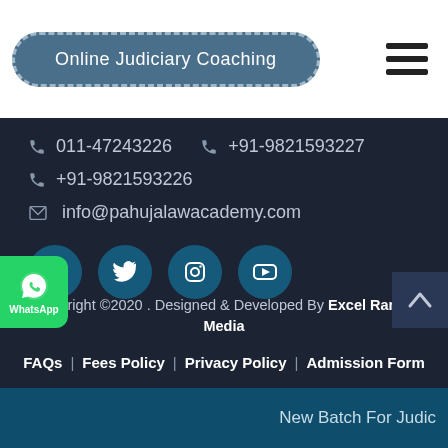Online Judiciary Coaching
011-47243226  +91-9821593227
+91-9821593226
info@pahujalawacademy.com
[Figure (other): Social media icons: Facebook, Twitter, Instagram, YouTube]
Copyright ©2020 . Designed & Developed By Excel Range Media
FAQs | Fees Policy | Privacy Policy | Admission Form
New Batch For Judic...